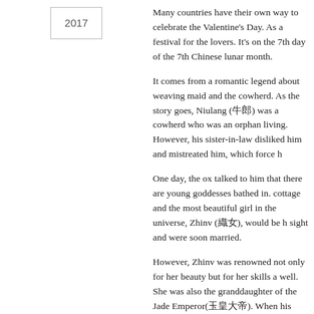2017
Many countries have their own way to celebrate the Valentine's Day. As a festival for the lovers. It's on the 7th day of the 7th Chinese lunar month.
It comes from a romantic legend about weaving maid and the cowherd. As the story goes, Niulang (牛郎) was a cowherd who was an orphan living. However, his sister-in-law disliked him and mistreated him, which force h
One day, the ox talked to him that there are young goddesses bathed in. cottage and the most beautiful girl in the universe, Zhinv (織女), would be h sight and were soon married.
However, Zhinv was renowned not only for her beauty but for her skills a well. She was also the granddaughter of the Jade Emperor(玉皇大帝). When his granddaughter had married a mortal. He ordered the Empress to fet found his wife had been taken away. He immediately took their kids to c
The Empress became angry when she saw Niulang and his children. Sh hairpin and a raging river flowed in the heavens. This created the Heave lovers.
Niulang and his children could only weep bitterly. Moved by their sorrow into stars and allowed them to meet once each year via a bridge made f